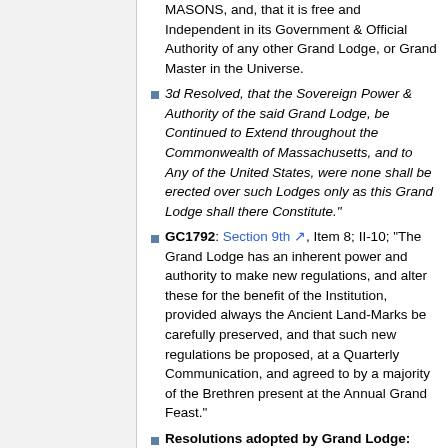MASONS, and, that it is free and Independent in its Government & Official Authority of any other Grand Lodge, or Grand Master in the Universe.
3d Resolved, that the Sovereign Power & Authority of the said Grand Lodge, be Continued to Extend throughout the Commonwealth of Massachusetts, and to Any of the United States, were none shall be erected over such Lodges only as this Grand Lodge shall there Constitute."
GC1792: Section 9th, Item 8; II-10; "The Grand Lodge has an inherent power and authority to make new regulations, and alter these for the benefit of the Institution, provided always the Ancient Land-Marks be carefully preserved, and that such new regulations be proposed, at a Quarterly Communication, and agreed to by a majority of the Brethren present at the Annual Grand Feast."
Resolutions adopted by Grand Lodge: